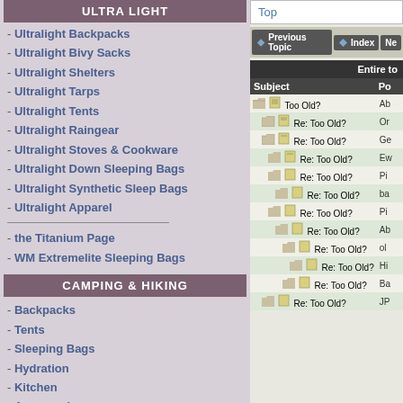ULTRA LIGHT
- Ultralight Backpacks
- Ultralight Bivy Sacks
- Ultralight Shelters
- Ultralight Tarps
- Ultralight Tents
- Ultralight Raingear
- Ultralight Stoves & Cookware
- Ultralight Down Sleeping Bags
- Ultralight Synthetic Sleep Bags
- Ultralight Apparel
- the Titanium Page
- WM Extremelite Sleeping Bags
CAMPING & HIKING
- Backpacks
- Tents
- Sleeping Bags
- Hydration
- Kitchen
- Accessories
Top
Previous Topic | Index | Next
| Entire to... |  |
| --- | --- |
| Subject | Po |
| Too Old? | Ab |
| Re: Too Old? | Or |
| Re: Too Old? | Ge |
| Re: Too Old? | Ew |
| Re: Too Old? | Pi |
| Re: Too Old? | ba |
| Re: Too Old? | Pi |
| Re: Too Old? | Ab |
| Re: Too Old? | ol |
| Re: Too Old? | Hi |
| Re: Too Old? | Ba |
| Re: Too Old? | JP |